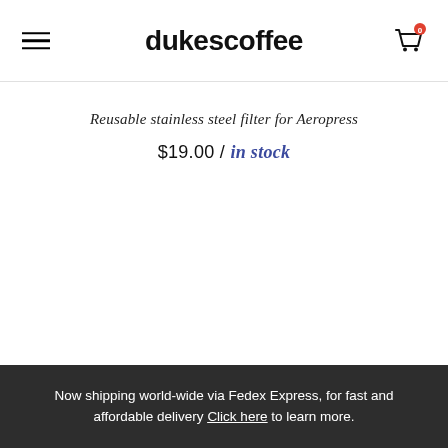dukescoffee
Reusable stainless steel filter for Aeropress
$19.00 / in stock
Now shipping world-wide via Fedex Express, for fast and affordable delivery Click here to learn more.